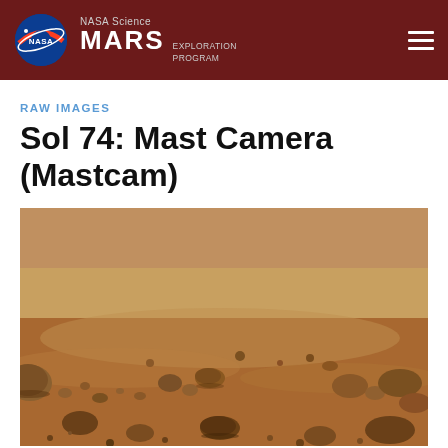NASA Science MARS EXPLORATION PROGRAM
RAW IMAGES
Sol 74: Mast Camera (Mastcam)
[Figure (photo): Mars surface landscape photo showing rocky, sandy terrain with scattered stones and pebbles in reddish-brown hues, taken by the Mastcam on Sol 74.]